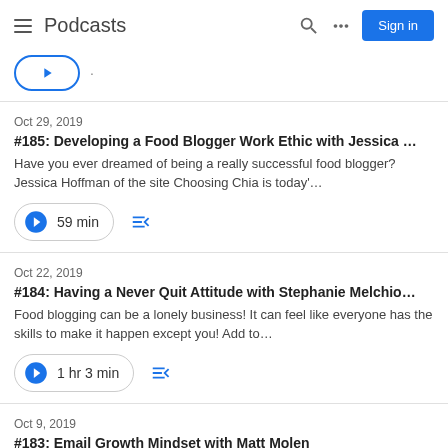Podcasts (with Search, Grid, Sign in buttons)
Oct 29, 2019 | #185: Developing a Food Blogger Work Ethic with Jessica … | Have you ever dreamed of being a really successful food blogger? Jessica Hoffman of the site Choosing Chia is today'… | 59 min
Oct 22, 2019 | #184: Having a Never Quit Attitude with Stephanie Melchio… | Food blogging can be a lonely business! It can feel like everyone has the skills to make it happen except you! Add to… | 1 hr 3 min
Oct 9, 2019 | #183: Email Growth Mindset with Matt Molen